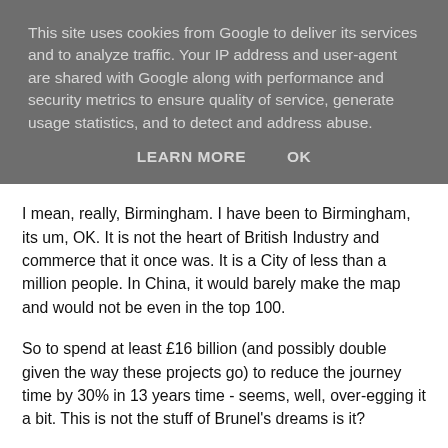This site uses cookies from Google to deliver its services and to analyze traffic. Your IP address and user-agent are shared with Google along with performance and security metrics to ensure quality of service, generate usage statistics, and to detect and address abuse.
LEARN MORE   OK
I mean, really, Birmingham. I have been to Birmingham, its um, OK. It is not the heart of British Industry and commerce that it once was. It is a City of less than a million people. In China, it would barely make the map and would not be even in the top 100.
So to spend at least £16 billion (and possibly double given the way these projects go) to reduce the journey time by 30% in 13 years time - seems, well, over-egging it a bit. This is not the stuff of Brunel's dreams is it?
Sure one day oil is going to be dreadfully expensive and flights costly and we will be glad of a rail network  - but this is